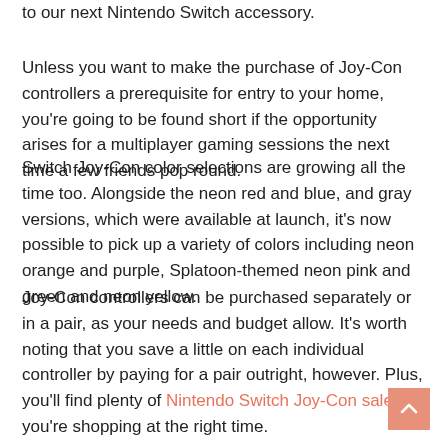to our next Nintendo Switch accessory.
Unless you want to make the purchase of Joy-Con controllers a prerequisite for entry to your home, you're going to be found short if the opportunity arises for a multiplayer gaming sessions the next time a few friends pop round.
Switch Joy-Con color selections are growing all the time too. Alongside the neon red and blue, and gray versions, which were available at launch, it's now possible to pick up a variety of colors including neon orange and purple, Splatoon-themed neon pink and green and neon yellow.
Joy-Con controllers can be purchased separately or in a pair, as your needs and budget allow. It's worth noting that you save a little on each individual controller by paying for a pair outright, however. Plus, you'll find plenty of Nintendo Switch Joy-Con sales if you're shopping at the right time.
[Figure (other): Scroll-to-top button, salmon/pink colored square with upward chevron arrow]